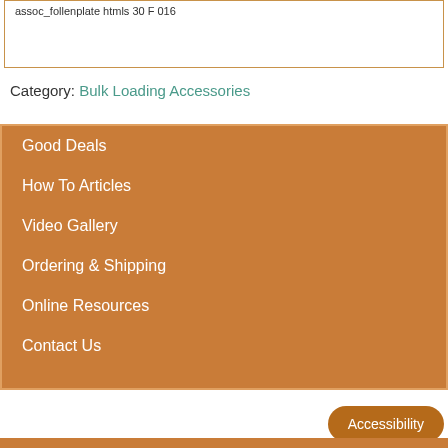assoc_follenplate htmls 30 F 016
Category: Bulk Loading Accessories
Good Deals
How To Articles
Video Gallery
Ordering & Shipping
Online Resources
Contact Us
Accessibility